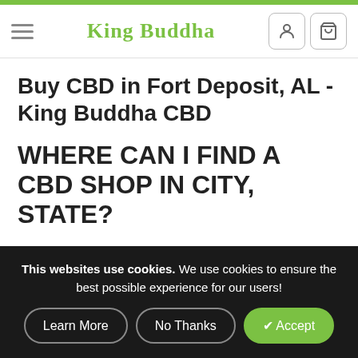King Buddha
Buy CBD in Fort Deposit, AL - King Buddha CBD
WHERE CAN I FIND A CBD SHOP IN CITY, STATE?
People are brought into the rich world of CBD for many reasons. Some are looking for alternative pain relief methods that are safe and non-addictive. Others are
This websites use cookies. We use cookies to ensure the best possible experience for our users!